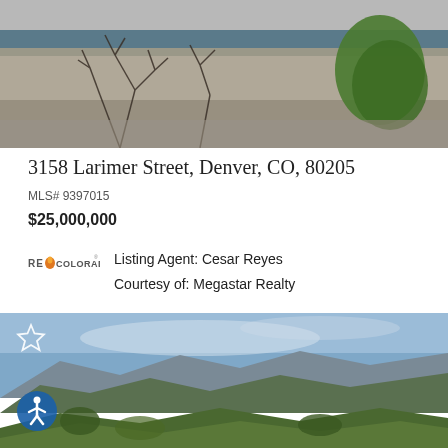[Figure (photo): Aerial/top-down view of a building with bare trees and green trees, grey pavement]
3158 Larimer Street, Denver, CO, 80205
MLS# 9397015
$25,000,000
[Figure (logo): RE/Colorado logo with orange flame icon]
Listing Agent: Cesar Reyes
Courtesy of: Megastar Realty
[Figure (photo): Landscape aerial photo of green mountain hills and blue sky]